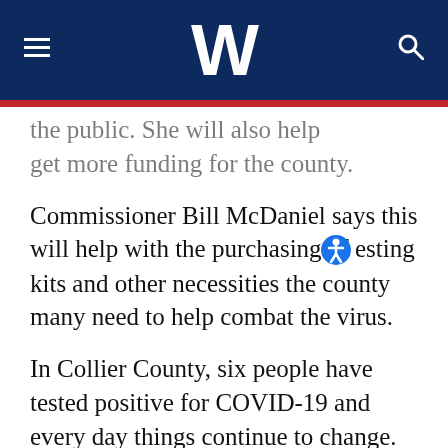W (news website header with hamburger menu and search icon)
the public. She will also help get more funding for the county.
Commissioner Bill McDaniel says this will help with the purchasing of testing kits and other necessities the county many need to help combat the virus.
In Collier County, six people have tested positive for COVID-19 and every day things continue to change. That is why the commissioners believe they need to keep an eye on